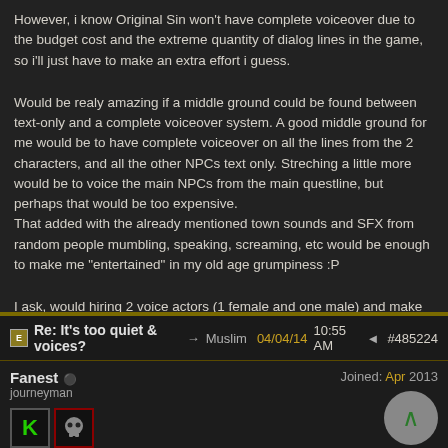However, i know Original Sin won't have complete voiceover due to the budget cost and the extreme quantity of dialog lines in the game, so i'll just have to make an extra effort i guess.
Would be realy amazing if a middle ground could be found between text-only and a complete voiceover system. A good middle ground for me would be to have complete voiceover on all the lines from the 2 characters, and all the other NPCs text only. Streching a little more would be to voice the main NPCs from the main questline, but perhaps that would be too expensive.
That added with the already mentioned town sounds and SFX from random people mumbling, speaking, screaming, etc would be enough to make me "entertained" in my old age grumpiness :P
I ask, would hiring 2 voice actors (1 female and one male) and make the main 2 characters voiced in all dialogs be terribly expensive and time consuming or would it be feasible?
Re: It's too quiet & voices? → Muslim 04/04/14 10:55 AM ◄ #485224
Fanest
journeyman
Joined: Apr 2013